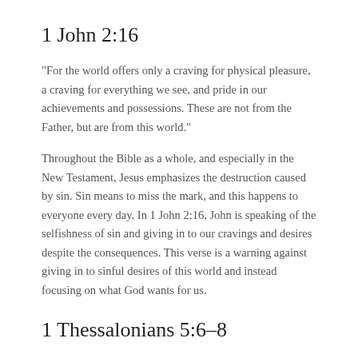1 John 2:16
“For the world offers only a craving for physical pleasure, a craving for everything we see, and pride in our achievements and possessions. These are not from the Father, but are from this world.”
Throughout the Bible as a whole, and especially in the New Testament, Jesus emphasizes the destruction caused by sin. Sin means to miss the mark, and this happens to everyone every day. In 1 John 2:16, John is speaking of the selfishness of sin and giving in to our cravings and desires despite the consequences. This verse is a warning against giving in to sinful desires of this world and instead focusing on what God wants for us.
1 Thessalonians 5:6–8
“So be on your guard, not asleep like the others. Stay alert and be clearheaded. Night is the time when people sleep and drinkers get drunk. But let us who live in the